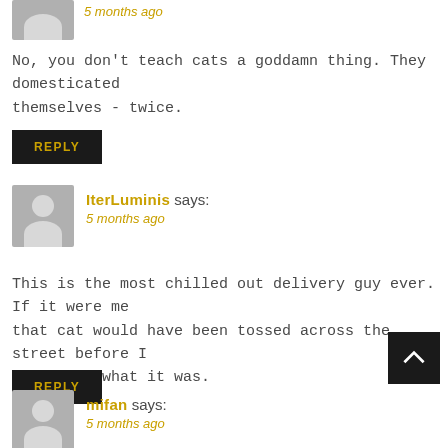5 months ago
No, you don't teach cats a goddamn thing. They domesticated themselves - twice.
REPLY
IterLuminis says:
5 months ago
This is the most chilled out delivery guy ever. If it were me that cat would have been tossed across the street before I even knew what it was.
REPLY
mifan says:
5 months ago